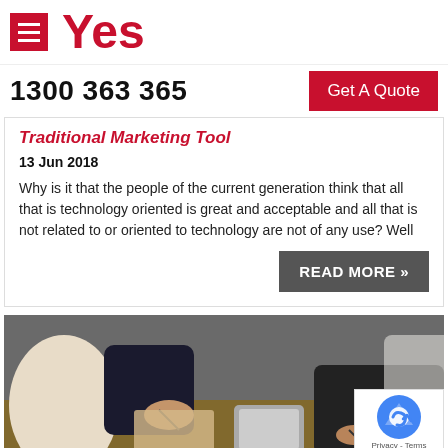Yes
1300 363 365
Get A Quote
Traditional Marketing Tool
13 Jun 2018
Why is it that the people of the current generation think that all that is technology oriented is great and acceptable and all that is not related to or oriented to technology are not of any use? Well
READ MORE »
[Figure (photo): Business meeting scene: people seated around a table, one person holding a pen over documents, another with a tablet, professional office setting]